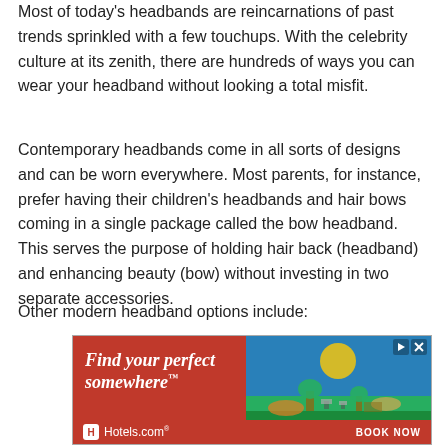Most of today's headbands are reincarnations of past trends sprinkled with a few touchups. With the celebrity culture at its zenith, there are hundreds of ways you can wear your headband without looking a total misfit.
Contemporary headbands come in all sorts of designs and can be worn everywhere. Most parents, for instance, prefer having their children's headbands and hair bows coming in a single package called the bow headband. This serves the purpose of holding hair back (headband) and enhancing beauty (bow) without investing in two separate accessories.
Other modern headband options include:
[Figure (photo): Advertisement for Hotels.com with text 'Find your perfect somewhere' and a beach/vacation scene photo, with Hotels.com logo and 'BOOK NOW' call to action.]